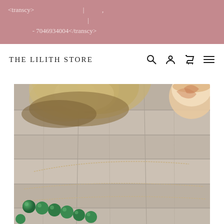<transcy> | ,
|
- 7046934004</transcy>
THE LILITH STORE
[Figure (photo): Product photo of a malachite bead necklace on a rustic wooden background with pampas grass and a candle in the top right corner]